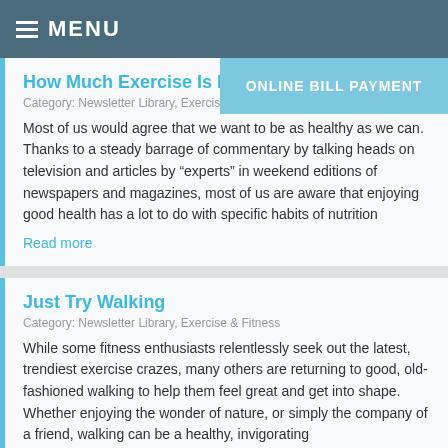MENU
How Much Exercise Is Eno...
Category: Newsletter Library, Exercis...
Most of us would agree that we want to be as healthy as we can. Thanks to a steady barrage of commentary by talking heads on television and articles by "experts" in weekend editions of newspapers and magazines, most of us are aware that enjoying good health has a lot to do with specific habits of nutrition
Read more
Just Try Walking
Category: Newsletter Library, Exercise & Fitness
While some fitness enthusiasts relentlessly seek out the latest, trendiest exercise crazes, many others are returning to good, old-fashioned walking to help them feel great and get into shape. Whether enjoying the wonder of nature, or simply the company of a friend, walking can be a healthy, invigorating
Read more